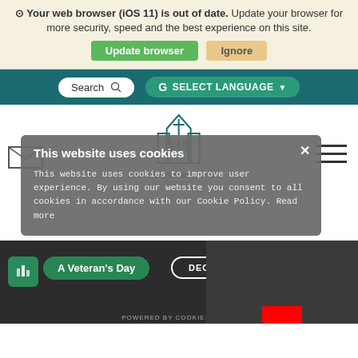Your web browser (iOS 11) is out of date. Update your browser for more security, speed and the best experience on this site.
Update browser | Ignore
[Figure (screenshot): Navigation bar with Search box and SELECT LANGUAGE button on teal background]
[Figure (logo): Church building logo - teal geometric church icon with cross]
CALVARY BAPTIST
Mapelvale
[Figure (screenshot): Cookie consent modal overlay with close button, title, body text and DECLINE ALL button. Text: This website uses cookies. This website uses cookies to improve user experience. By using our website you consent to all cookies in accordance with our Cookie Policy. Read more]
[Figure (screenshot): Video area showing A Veteran's Day content with channel icon, DECLINE ALL button, three-dot menu, and POWERED BY COOKIE-SCRIPT text]